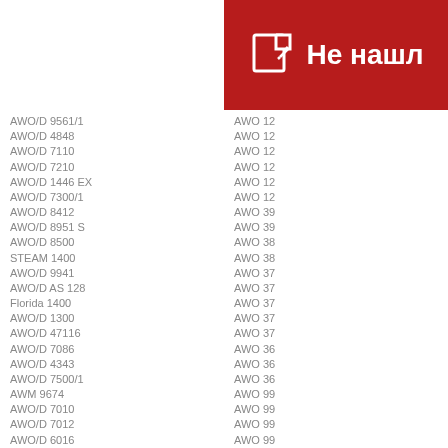[Figure (other): Red banner with edit icon and Russian text 'Не нашл']
AWO/D 9561/1
AWO/D 4848
AWO/D 7110
AWO/D 7210
AWO/D 1446 EX
AWO/D 7300/1
AWO/D 8412
AWO/D 8951 S
AWO/D 8500
STEAM 1400
AWO/D 9941
AWO/D AS 128
Florida 1400
AWO/D 1300
AWO/D 47116
AWO/D 7086
AWO/D 4343
AWO/D 7500/1
AWM 9674
AWO/D 7010
AWO/D 7012
AWO/D 6016
AWO/D 6080
AWO/D 7205
AWO/D 43426
AWO/D 7518 S
AWO/D 7800/1
AWO/D 71200/1
AWO/D 7012
AWO/D 7010
AWO/D 5726
AWO/D 5926
STEAM 1400/D W
AWO 12...
AWO 12...
AWO 12...
AWO 12...
AWO 12...
AWO 12...
AWO 39...
AWO 39...
AWO 38...
AWO 38...
AWO 37...
AWO 37...
AWO 37...
AWO 37...
AWO 37...
AWO 36...
AWO 36...
AWO 36...
AWO 99...
AWO 99...
AWO 99...
AWO 99...
AWO 99...
AWO 99...
AWO 98...
AWO 98...
AWO 99...
AWO 99...
AWO 99...
AWO 99...
AWO 99...
AWO 99...
AWO 97...